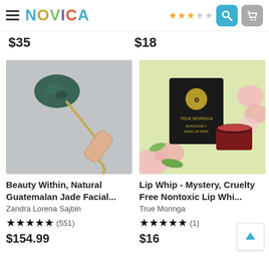NOVICA
$35
$18
[Figure (photo): Jade facial roller with wooden handle on light grey background]
Beauty Within, Natural Guatemalan Jade Facial...
Zandra Lorena Sajbin
★★★★★ (551)
$154.99
[Figure (photo): True Moringa Lip Whip Mystery Burgundy lip whip product with roses on yellow-green background]
Lip Whip - Mystery, Cruelty Free Nontoxic Lip Whip...
True Moringa
★★★★★ (1)
$16